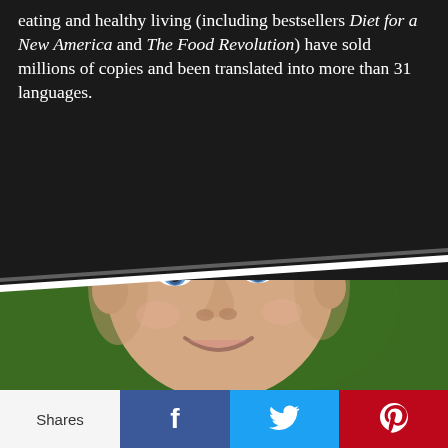eating and healthy living (including bestsellers Diet for a New America and The Food Revolution) have sold millions of copies and been translated into more than 31 languages.
[Figure (photo): Close-up photo of a smiling man with short dark hair and blue eyes, photographed against a green background, partially revealed by a diagonal white-bordered cutout through a dark overlay.]